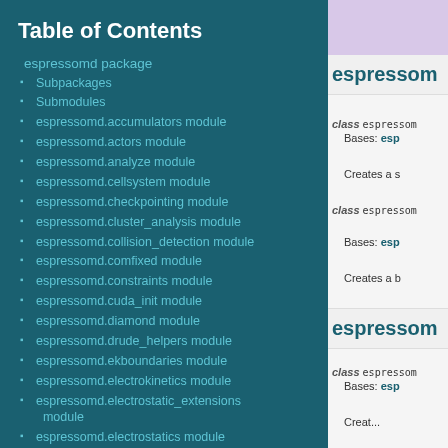Table of Contents
espressomd package
Subpackages
Submodules
espressomd.accumulators module
espressomd.actors module
espressomd.analyze module
espressomd.cellsystem module
espressomd.checkpointing module
espressomd.cluster_analysis module
espressomd.collision_detection module
espressomd.comfixed module
espressomd.constraints module
espressomd.cuda_init module
espressomd.diamond module
espressomd.drude_helpers module
espressomd.ekboundaries module
espressomd.electrokinetics module
espressomd.electrostatic_extensions module
espressomd.electrostatics module
espressomd.galilei module
espressomd.globals module
espressomd.highlander module
espressomd.integrate module
espressom
class espressom
Bases: esp
Creates a s
class espressom
Bases: esp
Creates a b
espressom
class espressom
Bases: esp
Creat...